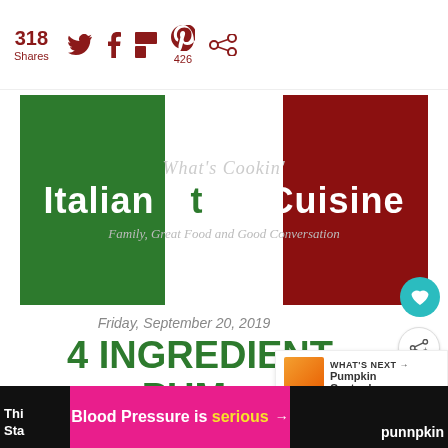318 Shares, social share icons: Twitter, Facebook, Flipboard, Pinterest 426, other
[Figure (logo): What's Cookin Italian Style Cuisine logo banner with green and red blocks, subtitle: Family, Great Food and Good Conversation]
Friday, September 20, 2019
4 INGREDIENT PUMPKIN CAKE
[Figure (infographic): What's Next panel showing Pumpkin Custard... with thumbnail]
Blood Pressure is serious →